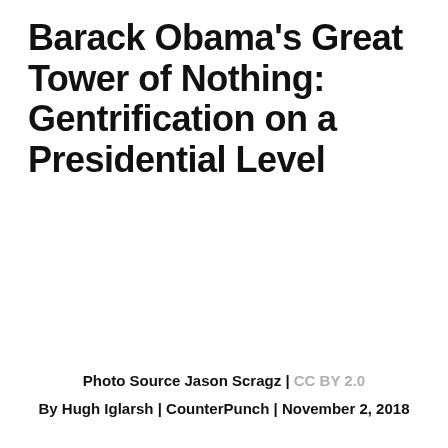Barack Obama's Great Tower of Nothing: Gentrification on a Presidential Level
Photo Source Jason Scragz | CC BY 2.0
By Hugh Iglarsh | CounterPunch | November 2, 2018